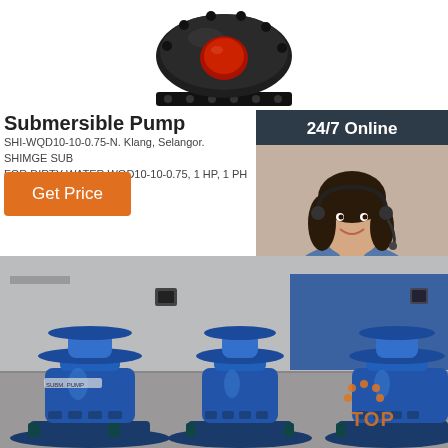[Figure (photo): Top view of a black submersible pump with red circular center cap, shown against white background]
Submersible Pump
SHI-WQD10-10-0.75-N. Klang, Selangor. SHIMGE SUB... FOR DIRTY WATER WQD10-10-0.75, 1 HP, 1 PH 240V. ...
[Figure (infographic): 24/7 Online chat panel with female customer service agent wearing headset, with 'Click here for free chat!' and QUOTATION button]
Get Price
24/7 Online
Click here for free chat !
QUOTATION
[Figure (photo): Three large blue industrial submersible/vertical pumps with flanged bases in a warehouse or factory setting with blue wall in background. Orange TOP logo watermark visible.]